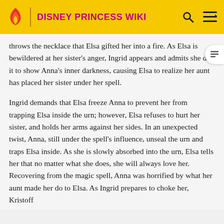DISNEY PRINCESS WIKI
throws the necklace that Elsa gifted her into a fire. As Elsa is bewildered at her sister's anger, Ingrid appears and admits she did it to show Anna's inner darkness, causing Elsa to realize her aunt has placed her sister under her spell.
Ingrid demands that Elsa freeze Anna to prevent her from trapping Elsa inside the urn; however, Elsa refuses to hurt her sister, and holds her arms against her sides. In an unexpected twist, Anna, still under the spell's influence, unseal the urn and traps Elsa inside. As she is slowly absorbed into the urn, Elsa tells her that no matter what she does, she will always love her. Recovering from the magic spell, Anna was horrified by what her aunt made her do to Elsa. As Ingrid prepares to choke her, Kristoff